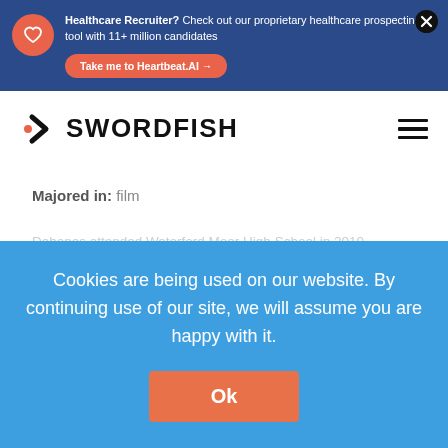Healthcare Recruiter? Check out our proprietary healthcare prospecting tool with 11+ million candidates
Take me to Heartbeat.AI →
[Figure (logo): Swordfish logo with orange arrow/chevron and bold black SWORDFISH text]
Majored in: film
Dahones attended Waterford Moor High School in 2010
Cookies are being used on our website. By continuing use of our site, we will assume you are happy with it.
Ok